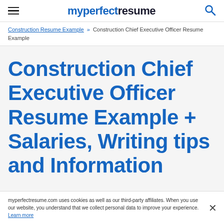myperfectresume
Construction Resume Example » Construction Chief Executive Officer Resume Example
Construction Chief Executive Officer Resume Example + Salaries, Writing tips and Information
myperfectresume.com uses cookies as well as our third-party affiliates. When you use our website, you understand that we collect personal data to improve your experience. Learn more